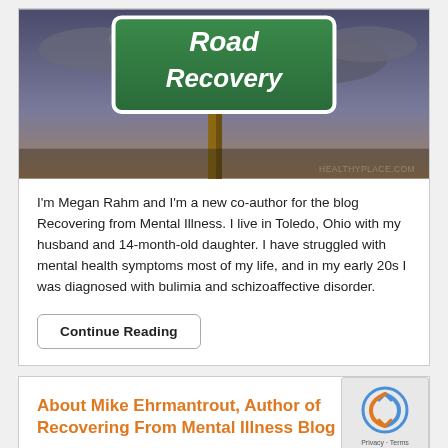[Figure (photo): Road sign reading 'Road to Recovery' against a cloudy sky background, with HEALTHYPLACE.COM watermark in bottom right corner]
I'm Megan Rahm and I'm a new co-author for the blog Recovering from Mental Illness. I live in Toledo, Ohio with my husband and 14-month-old daughter. I have struggled with mental health symptoms most of my life, and in my early 20s I was diagnosed with bulimia and schizoaffective disorder.
Continue Reading
About Mike Ehrmantrout, Author of Recovering From Mental Illness Blog